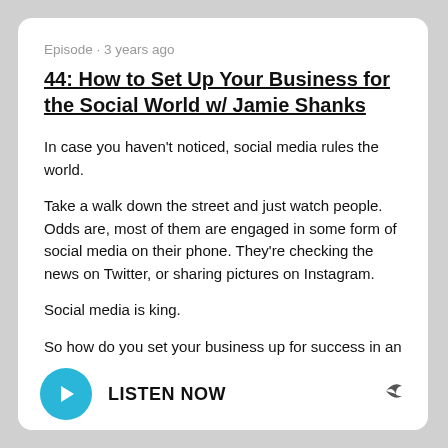Episode · 3 years ago
44: How to Set Up Your Business for the Social World w/ Jamie Shanks
In case you haven't noticed, social media rules the world.
Take a walk down the street and just watch people. Odds are, most of them are engaged in some form of social media on their phone. They're checking the news on Twitter, or sharing pictures on Instagram.
Social media is king.
So how do you set your business up for success in an increasingly social world? What does it look like to go
LISTEN NOW